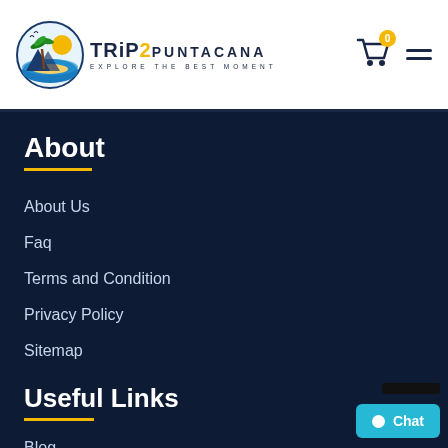[Figure (logo): Trip2Puntacana logo with palm tree island graphic and text 'TRIP2PUNTACANA - EXPLORE THE BEST MOMENT']
[Figure (other): Shopping cart icon with badge showing 0, and hamburger menu icon]
About
About Us
Faq
Terms and Condition
Privacy Policy
Sitemap
Useful Links
Blog